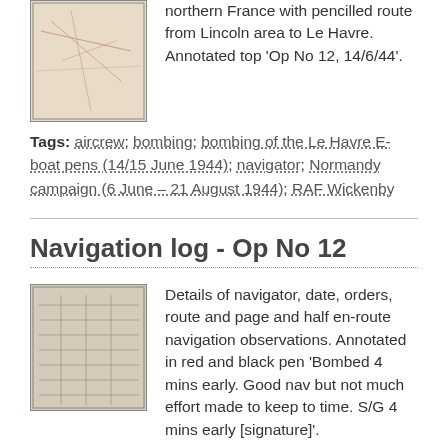[Figure (photo): Thumbnail image of a map of northern France with pencilled route markings.]
northern France with pencilled route from Lincoln area to Le Havre. Annotated top 'Op No 12, 14/6/44'.
Tags: aircrew; bombing; bombing of the Le Havre E-boat pens (14/15 June 1944); navigator; Normandy campaign (6 June – 21 August 1944); RAF Wickenby
Navigation log - Op No 12
[Figure (photo): Thumbnail image of a navigation log document with grid lines and handwritten entries.]
Details of navigator, date, orders, route and page and half en-route navigation observations. Annotated in red and black pen 'Bombed 4 mins early. Good nav but not much effort made to keep to time. S/G 4 mins early [signature]'.